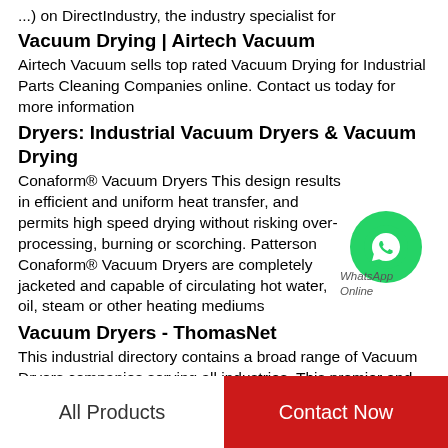...) on DirectIndustry, the industry specialist for
Vacuum Drying | Airtech Vacuum
Airtech Vacuum sells top rated Vacuum Drying for Industrial Parts Cleaning Companies online. Contact us today for more information
Dryers: Industrial Vacuum Dryers & Vacuum Drying
Conaform® Vacuum Dryers This design results in efficient and uniform heat transfer, and permits high speed drying without risking over-processing, burning or scorching. Patterson Conaform® Vacuum Dryers are completely jacketed and capable of circulating hot water, oil, steam or other heating mediums
[Figure (logo): WhatsApp green circle icon with phone handset graphic, labeled WhatsApp Online]
Vacuum Dryers - ThomasNet
This industrial directory contains a broad range of Vacuum Dryers companies serving all industries. This premier and trusted vertical directory contains
All Products
Contact Now